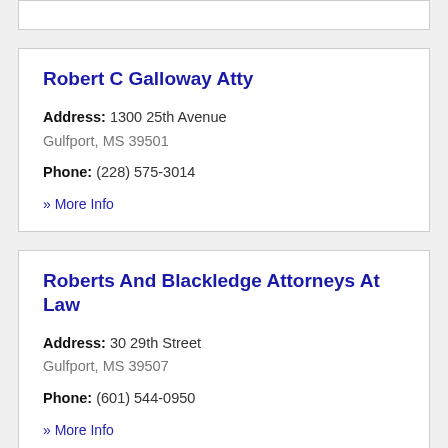Robert C Galloway Atty
Address: 1300 25th Avenue Gulfport, MS 39501
Phone: (228) 575-3014
» More Info
Roberts And Blackledge Attorneys At Law
Address: 30 29th Street Gulfport, MS 39507
Phone: (601) 544-0950
» More Info